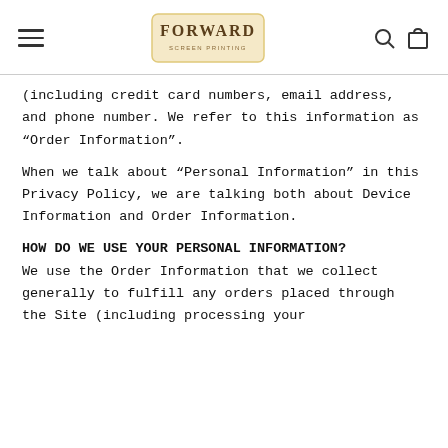FORWARD [logo] [search icon] [bag icon]
(including credit card numbers, email address, and phone number. We refer to this information as “Order Information”.
When we talk about “Personal Information” in this Privacy Policy, we are talking both about Device Information and Order Information.
HOW DO WE USE YOUR PERSONAL INFORMATION?
We use the Order Information that we collect generally to fulfill any orders placed through the Site (including processing your